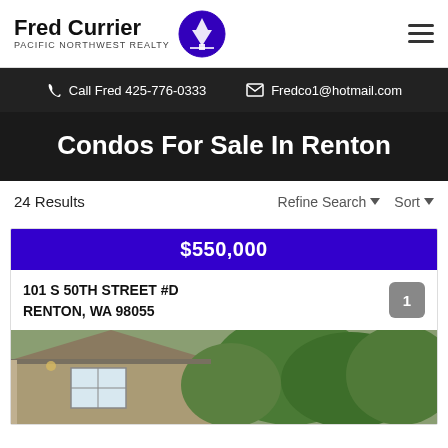[Figure (logo): Fred Currier Pacific Northwest Realty logo with tree icon in purple circle]
Call Fred 425-776-0333   Fredco1@hotmail.com
Condos For Sale In Renton
24 Results
Refine Search ▼   Sort ▼
$550,000
101 S 50TH STREET #D
RENTON, WA 98055
[Figure (photo): Exterior photo of a house with gray/tan siding and green trees]